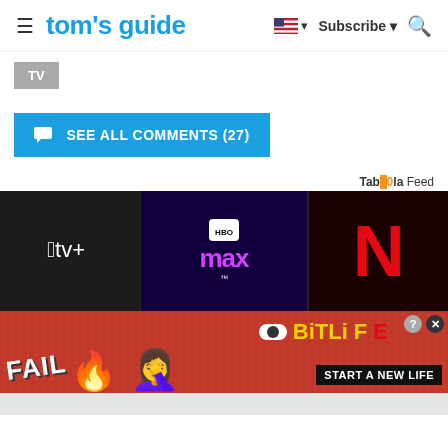tom's guide | Subscribe | Search
TV
SEE ALL COMMENTS (27)
Tab00la Feed
[Figure (photo): Streaming service logos: Apple TV+, HBO Max, Netflix on dark background]
[Figure (photo): BitLife advertisement banner: FAIL character, START A NEW LIFE text]